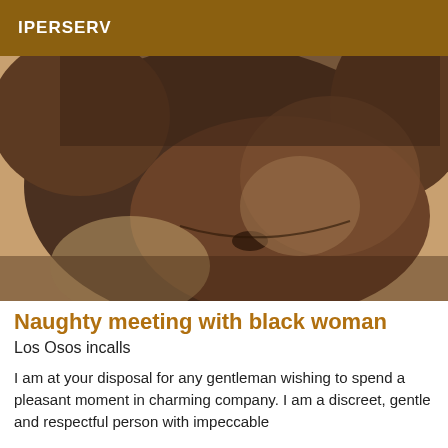IPERSERV
[Figure (photo): Close-up photo of a person's torso/midsection with dark skin tone against a light background]
Naughty meeting with black woman
Los Osos incalls
I am at your disposal for any gentleman wishing to spend a pleasant moment in charming company. I am a discreet, gentle and respectful person with impeccable